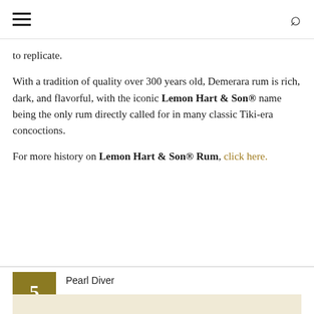☰ 🔍
to replicate.
With a tradition of quality over 300 years old, Demerara rum is rich, dark, and flavorful, with the iconic Lemon Hart & Son® name being the only rum directly called for in many classic Tiki-era concoctions.
For more history on Lemon Hart & Son® Rum, click here.
5  Pearl Diver